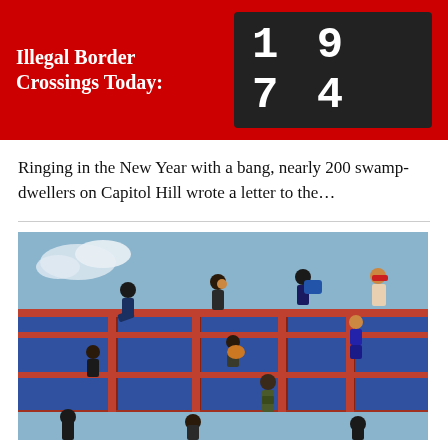Illegal Border Crossings Today: 1974
Ringing in the New Year with a bang, nearly 200 swamp-dwellers on Capitol Hill wrote a letter to the...
[Figure (photo): People climbing over a large shipping container wall, appearing to be migrants attempting to cross a border barrier. Multiple individuals are shown at various stages of climbing, set against a blue sky.]
February 10, 2020 Illegal Immigration